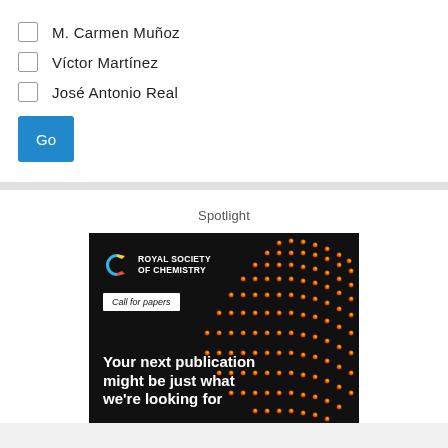M. Carmen Muñoz
Víctor Martínez
José Antonio Real
Go
Spotlight
[Figure (illustration): Royal Society of Chemistry advertisement with dark background and colorful dot pattern on right side. Contains RSC logo, 'Call for papers' badge, and text 'Your next publication might be just what we're looking for']